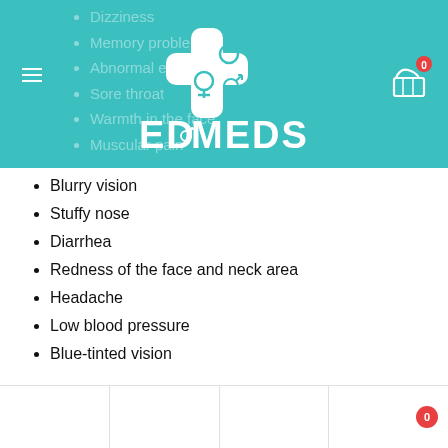[Figure (logo): ED Meds logo with medical cross and gender symbols on teal background]
Dizziness
Memory problems
Abnormal ejaculation
Sore throat
Warmth in the face
Muscular pain
Blurry vision
Stuffy nose
Diarrhea
Redness of the face and neck area
Headache
Low blood pressure
Blue-tinted vision
Vidalista 20 mg oral side-effects are often mild, but if you find that your symptoms are severe, you should seek